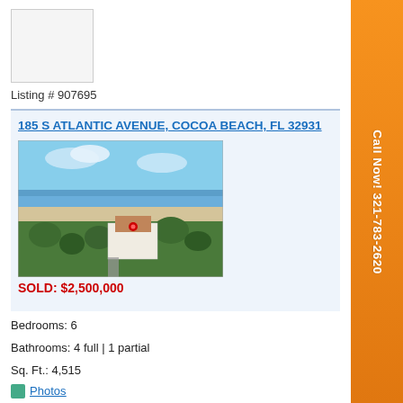[Figure (other): Thumbnail placeholder image (white/light grey box) for listing]
Listing # 907695
185 S ATLANTIC AVENUE, COCOA BEACH, FL 32931
[Figure (photo): Aerial photograph of a beachfront property at 185 S Atlantic Avenue, Cocoa Beach, FL - showing ocean in background, sandy beach, and residential structures surrounded by trees]
SOLD:  $2,500,000
Bedrooms: 6
Bathrooms: 4 full | 1 partial
Sq. Ft.: 4,515
Photos
[Figure (other): Thumbnail placeholder image (white/light grey box) for second listing]
Listing # 922559
Call Now! 321-783-2620